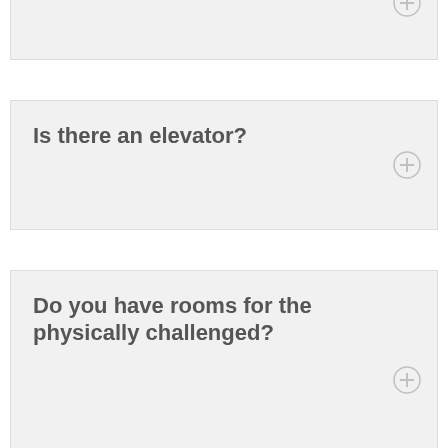What are your office hours?
Is there an elevator?
Do you have rooms for the physically challenged?
Do you have meeting Rooms for Groups?